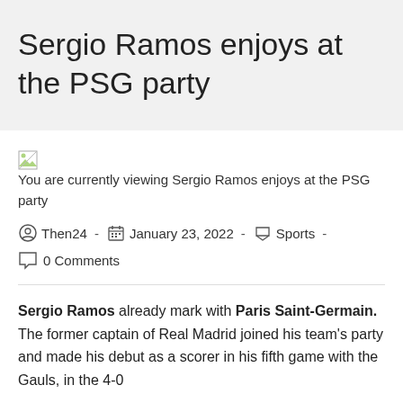Sergio Ramos enjoys at the PSG party
[Figure (photo): Broken image placeholder: You are currently viewing Sergio Ramos enjoys at the PSG party]
Then24 · January 23, 2022 · Sports · 0 Comments
Sergio Ramos already mark with Paris Saint-Germain. The former captain of Real Madrid joined his team's party and made his debut as a scorer in his fifth game with the Gauls, in the 4-0